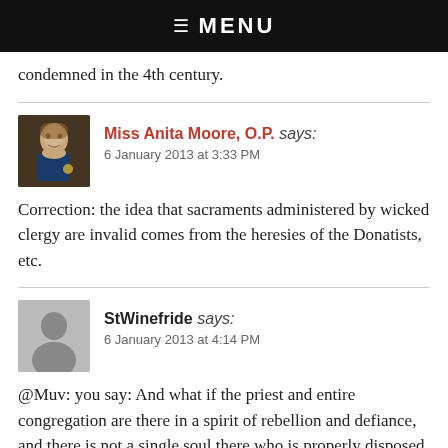☰ MENU
condemned in the 4th century.
Miss Anita Moore, O.P. says:
6 January 2013 at 3:33 PM

Correction: the idea that sacraments administered by wicked clergy are invalid comes from the heresies of the Donatists, etc.
StWinefride says:
6 January 2013 at 4:14 PM

@Muv: you say: And what if the priest and entire congregation are there in a spirit of rebellion and defiance, and there is not a single soul there who is properly disposed to receive communion?